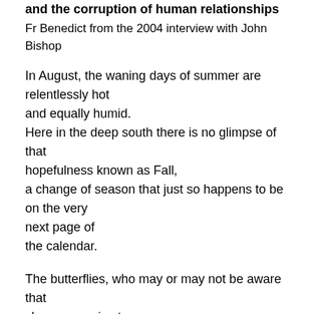and the corruption of human relationships
Fr Benedict from the 2004 interview with John Bishop
In August, the waning days of summer are relentlessly hot and equally humid.
Here in the deep south there is no glimpse of that hopefulness known as Fall,
a change of season that just so happens to be on the very next page of
the calendar.
The butterflies, who may or may not be aware that changes are in store,
are at a near fevered pitch as they make their precarious mad dash
all around the yard in search of the those few brave flowers which
are still blooming despite most others having long dried